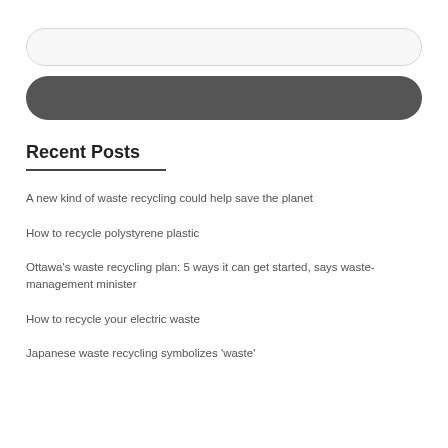[Figure (other): Search input field — rounded pill-shaped input box with light gray background and border]
[Figure (other): Search button — rounded pill-shaped dark gray button]
Recent Posts
A new kind of waste recycling could help save the planet
How to recycle polystyrene plastic
Ottawa's waste recycling plan: 5 ways it can get started, says waste-management minister
How to recycle your electric waste
Japanese waste recycling symbolizes 'waste'